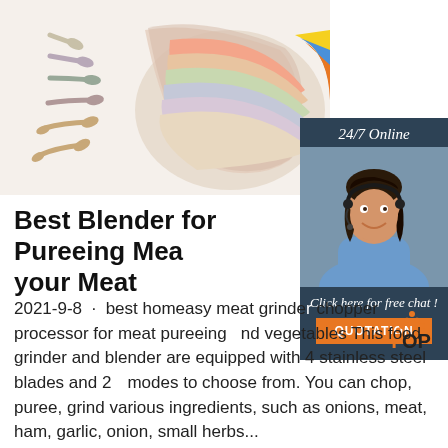[Figure (photo): Product photo of colorful silicone baby spoons and a bowl with layered pastel-colored items, arranged on a white background]
[Figure (photo): Sidebar widget with dark navy background showing '24/7 Online' label, a smiling female customer service agent wearing a headset, 'Click here for free chat!' text, and an orange QUOTATION button]
[Figure (logo): TOP logo with orange dots and text in lower right corner]
Best Blender for Pureeing Meat your Meat
2021-9-8 · best homeasy meat grinder chopper processor for meat pureeing vegetables This food grinder and blender are equipped with 4 stainless steel blades and 2 modes to choose from. You can chop, puree, grind various ingredients, such as onions, meat, ham, garlic, onion, small herbs...